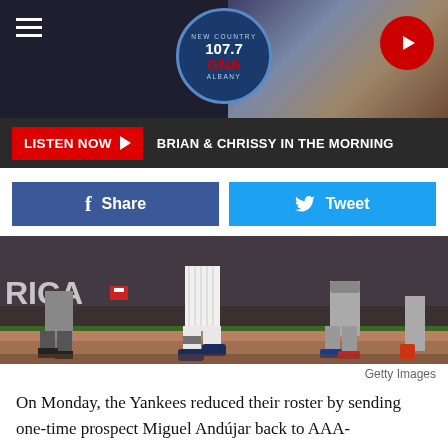107.7 GNA New Country Albany
LISTEN NOW  BRIAN & CHRISSY IN THE MORNING
[Figure (other): Social share buttons: Facebook Share and Twitter Tweet]
[Figure (photo): Baseball scene showing legs of players and umpire near home plate on a dirt field at night]
Getty Images
On Monday, the Yankees reduced their roster by sending one-time prospect Miguel Andújar back to AAA-Scranton/Wilkes-Barre. Andújar has been nothing special since his breakout season in 2018 but at the same time, he has hardly been on the field due to injuries and the pandemic season. Look at